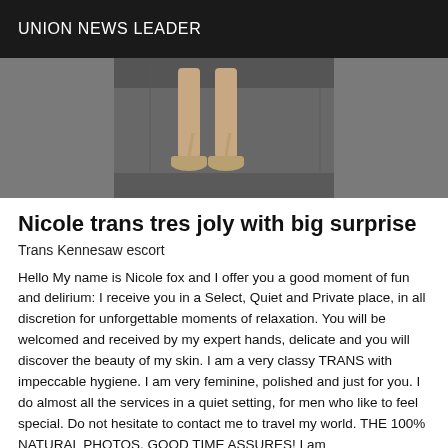UNION NEWS LEADER
[Figure (photo): Partial photo showing a person's legs and high-heeled shoes, cropped to show only the lower portion.]
Nicole trans tres joly with big surprise
Trans Kennesaw escort
Hello My name is Nicole fox and I offer you a good moment of fun and delirium: I receive you in a Select, Quiet and Private place, in all discretion for unforgettable moments of relaxation. You will be welcomed and received by my expert hands, delicate and you will discover the beauty of my skin. I am a very classy TRANS with impeccable hygiene. I am very feminine, polished and just for you. I do almost all the services in a quiet setting, for men who like to feel special. Do not hesitate to contact me to travel my world. THE 100% NATURAL PHOTOS, GOOD TIME ASSURES! I am